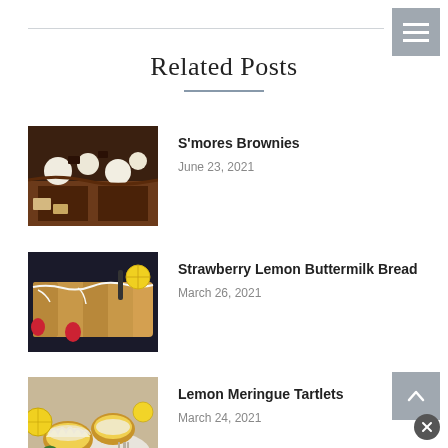Related Posts
[Figure (photo): S'mores brownies photo — chocolate brownies with marshmallow and graham cracker pieces on parchment]
S'mores Brownies
June 23, 2021
[Figure (photo): Strawberry lemon buttermilk bread with white glaze drizzle and strawberries on a cooling rack]
Strawberry Lemon Buttermilk Bread
March 26, 2021
[Figure (photo): Lemon meringue tartlets with golden meringue tops, served with lemon slices and a fork]
Lemon Meringue Tartlets
March 24, 2021